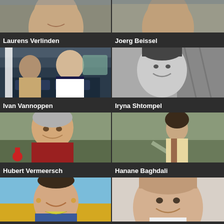[Figure (photo): Partial photo of Laurens Verlinden (top, cropped) smiling man]
[Figure (photo): Partial photo of Joerg Beissel (top, cropped) man]
Laurens Verlinden
Joerg Beissel
[Figure (photo): Ivan Vannoppen - man in pilot uniform sitting in cockpit]
[Figure (photo): Iryna Shtompel - black and white photo of smiling woman outdoors]
Ivan Vannoppen
Iryna Shtompel
[Figure (photo): Hubert Vermeersch - older man smiling in red jacket outdoors]
[Figure (photo): Hanane Baghdali - woman walking outdoors]
Hubert Vermeersch
Hanane Baghdali
[Figure (photo): Bottom left - woman smiling in wheat field]
[Figure (photo): Bottom right - man smiling, close-up portrait]